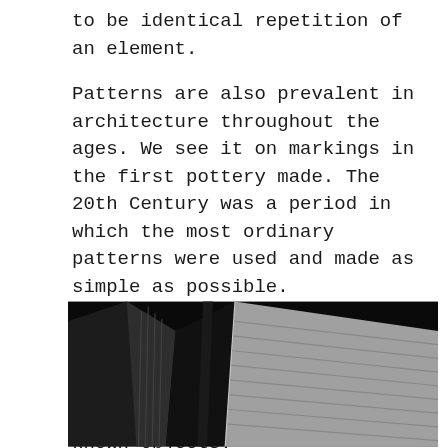to be identical repetition of an element.
Patterns are also prevalent in architecture throughout the ages. We see it on markings in the first pottery made. The 20th Century was a period in which the most ordinary patterns were used and made as simple as possible.
Many artists over the centuries added pattern embellishments to their work, whether for decoration or to signify a known objects.
[Figure (photo): Black and white photograph looking up at modern architectural buildings with geometric lines and angular facades against a dark sky]